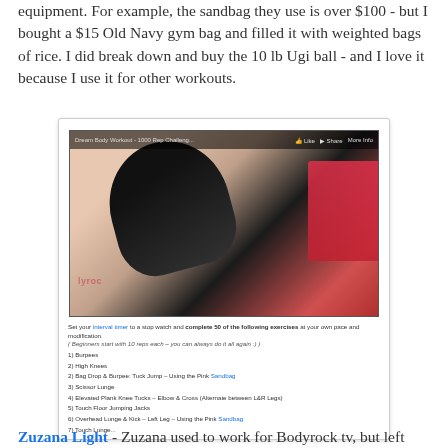equipment. For example, the sandbag they use is over $100 - but I bought a $15 Old Navy gym bag and filled it with weighted bags of rice. I did break down and buy the 10 lb Ugi ball - and I love it because I use it for other workouts.
[Figure (screenshot): Embedded YouTube video player showing 'Dream Body Workout - 1000 Rep Challenge' with a thumbnail of a woman doing an exercise. Below the video player is a description listing workout exercises including Burpees, High Knees, Bag Drop & Burpee: Tuck Jump, Scissor Lunge, Elevated Plank Knee Tucks, Touch Floor Jumping Jacks, and Overhead Lunge & Kick.]
Zuzana Light - Zuzana used to work for Bodyrock tv, but left